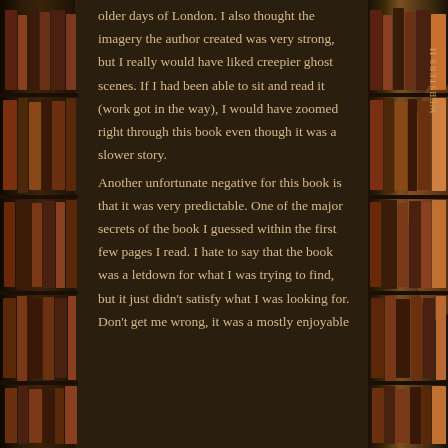older days of London. I also thought the imagery the author created was very strong, but I really would have liked creepier ghost scenes. If I had been able to sit and read it (work got in the way), I would have zoomed right through this book even though it was a slower story.
Another unfortunate negative for this book is that it was very predictable. One of the major secrets of the book I guessed within the first few pages I read. I hate to say that the book was a letdown for what I was trying to find, but it just didn't satisfy what I was looking for. Don't get me wrong, it was a mostly enjoyable